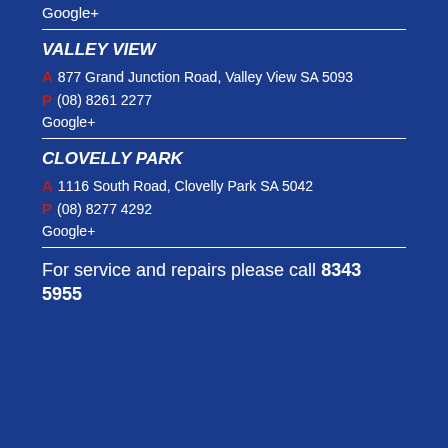Google+
VALLEY VIEW
A 877 Grand Junction Road, Valley View SA 5093
P (08) 8261 2277
Google+
CLOVELLY PARK
A 1116 South Road, Clovelly Park SA 5042
P (08) 8277 4292
Google+
For service and repairs please call 8343 5955